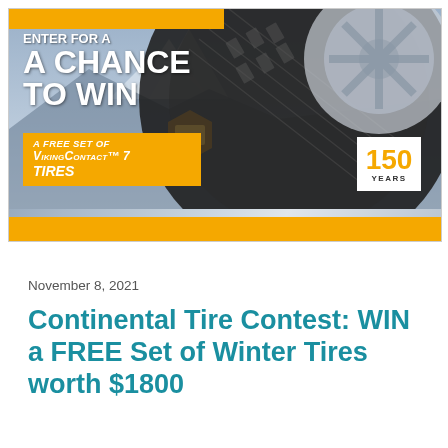[Figure (illustration): Continental Tire promotional banner advertisement showing a winter tire close-up with a car wheel on snowy mountain background. Text reads: 'ENTER FOR A A CHANCE TO WIN A FREE SET OF VIKINGCONTACT 7 TIRES' with a '150 YEARS' badge. Orange accent colors throughout.]
November 8, 2021
Continental Tire Contest: WIN a FREE Set of Winter Tires worth $1800